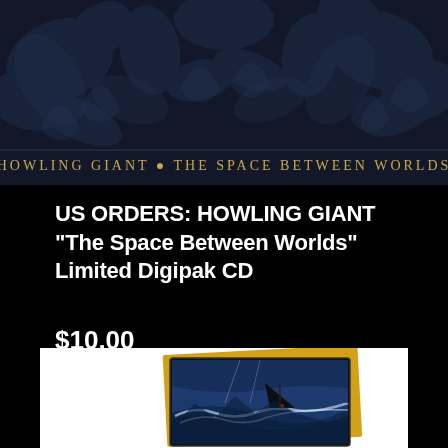[Figure (photo): Dark decorative banner with abstract floral/organic patterns in navy/dark blue. Text reads 'HOWLING GIANT • THE SPACE BETWEEN WORLDS' in gold serif letters at the bottom of the banner.]
US ORDERS: HOWLING GIANT "The Space Between Worlds" Limited Digipak CD
$10.00
[Figure (photo): Product photo of the Howling Giant 'The Space Between Worlds' Limited Digipak CD. Shows a digipak CD case with a yellow/gold inner sleeve visible at the top, and the front cover showing a dramatic ocean/wave scene with a sailboat in dark blue tones with white wave splashes and a figure with a red light.]